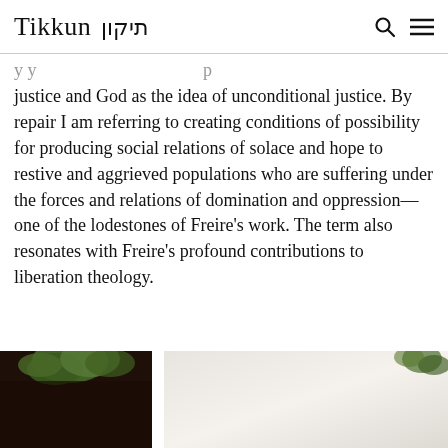Tikkun תיקון
justice and God as the idea of unconditional justice. By repair I am referring to creating conditions of possibility for producing social relations of solace and hope to restive and aggrieved populations who are suffering under the forces and relations of domination and oppression—one of the lodestones of Freire's work. The term also resonates with Freire's profound contributions to liberation theology.
[Figure (photo): A partial view of two photographs side by side with a white gap between them. Left photo shows a dark background with green leaves/foliage visible at the top. Right photo shows a light/white background with some foliage visible at the top right corner.]